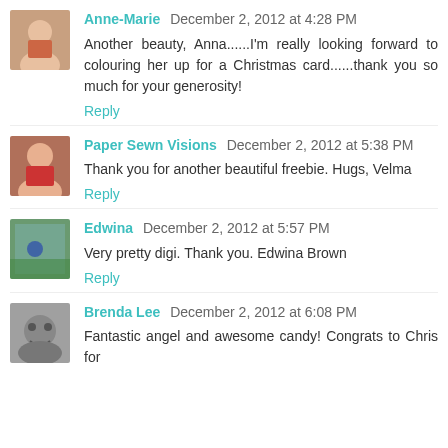Anne-Marie December 2, 2012 at 4:28 PM
Another beauty, Anna......I'm really looking forward to colouring her up for a Christmas card......thank you so much for your generosity!
Reply
Paper Sewn Visions December 2, 2012 at 5:38 PM
Thank you for another beautiful freebie. Hugs, Velma
Reply
Edwina December 2, 2012 at 5:57 PM
Very pretty digi. Thank you. Edwina Brown
Reply
Brenda Lee December 2, 2012 at 6:08 PM
Fantastic angel and awesome candy! Congrats to Chris for